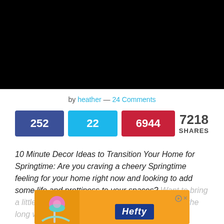[Figure (photo): Black image area at top of page (hero image cropped/black)]
by heather — 24 Comments
252 | 22 | 6944 | 7218 SHARES
10 Minute Decor Ideas to Transition Your Home for Springtime: Are you craving a cheery Springtime feeling for your home right now and looking to add some life and prettiness to your spaces? Want to bring a little color and cheeriness into your home after the lo... add a spri... time
[Figure (advertisement): Hefty brand advertisement with orange background and product image]